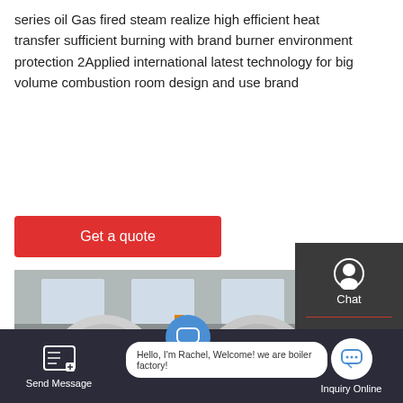series oil Gas fired steam realize high efficient heat transfer sufficient burning with brand burner environment protection 2Applied international latest technology for big volume combustion room design and use brand
[Figure (other): Red button labeled 'Get a quote']
[Figure (photo): Industrial boilers in a factory with two computer monitors in the foreground showing green graphics]
[Figure (screenshot): Side panel with Chat, Email, and Contact icons on dark background; TOP button; bottom bar with Send Message, chat bubble, hello message from Rachel, and Inquiry Online button]